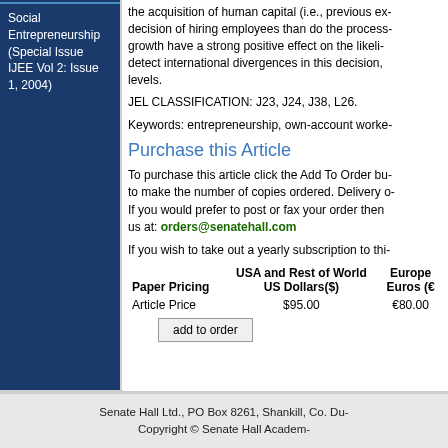Social Entrepreneurship (Special Issue IJEE Vol 2: Issue 1, 2004)
the acquisition of human capital (i.e., previous ex- decision of hiring employees than do the process- growth have a strong positive effect on the likeli- detect international divergences in this decision, levels.
JEL CLASSIFICATION: J23, J24, J38, L26.
Keywords: entrepreneurship, own-account worke-
Purchase this Article
To purchase this article click the Add To Order bu- to make the number of copies ordered. Delivery o- If you would prefer to post or fax your order then us at: orders@senatehall.com
If you wish to take out a yearly subscription to thi-
| Paper Pricing | USA and Rest of World US Dollars($) | Europe Euros (€) |
| --- | --- | --- |
| Article Price | $95.00 | €80.00 |
add to order
Senate Hall Ltd., PO Box 8261, Shankill, Co. Du- Copyright © Senate Hall Academ-